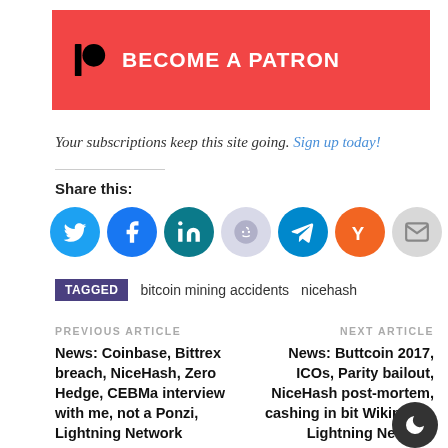[Figure (logo): Patreon 'Become a Patron' banner with red background, Patreon logo icon and bold white text]
Your subscriptions keep this site going. Sign up today!
[Figure (infographic): Row of social share icon buttons: Twitter (blue), Facebook (blue), LinkedIn (teal), Reddit (light grey), Telegram (blue), YCombinator (orange), Email (grey)]
Share this:
TAGGED  bitcoin mining accidents  nicehash
PREVIOUS ARTICLE
News: Coinbase, Bittrex breach, NiceHash, Zero Hedge, CEBMa interview with me, not a Ponzi, Lightning Network
NEXT ARTICLE
News: Buttcoin 2017, ICOs, Parity bailout, NiceHash post-mortem, cashing in bit Wikipedia, Lightning Network